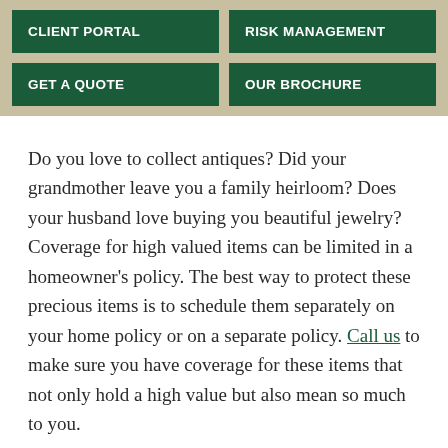CLIENT PORTAL
RISK MANAGEMENT
GET A QUOTE
OUR BROCHURE
Do you love to collect antiques?  Did your grandmother leave you a family heirloom? Does your husband love buying you beautiful jewelry?  Coverage for high valued items can be limited in a homeowner's policy.  The best way to protect these precious items is to schedule them separately on your home policy or on a separate policy.  Call us to make sure you have coverage for these items that not only hold a high value but also mean so much to you.